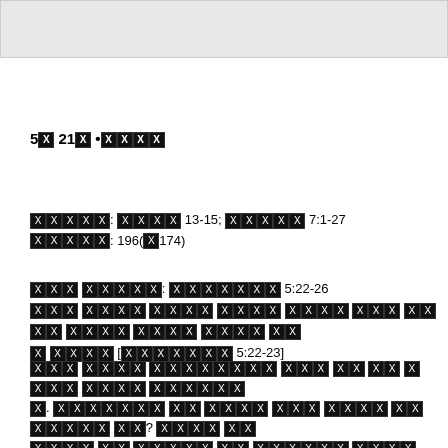[Figure (other): Gray header image block at the top of the page]
5장 21과 •제목
본문: 출애굽기 13-15; 로마서 7:1-27
페이지: 196(쪽174)
암송 말씀: 갈라디아서 5:22-26
이는 여러 말씀 중에서 가장 중요한 말씀 중의 하나 인 것이다 [갈라디아서 5:22-23]
이번 주에 배울것에 대해 짧게 설명 하겠습니다. 하나님의 성령 안에서 걷는 것이 어떤 것인지? 우리가 어떻게 성령 안에서 살며 또한 더불어 걸을수 있는지? 그 걸어가는 방법에 대해 말씀이 우리에게 어떻게 또한 여러분의 삶에 적용될 수 있는지를 오늘도 공부해 봅시다.